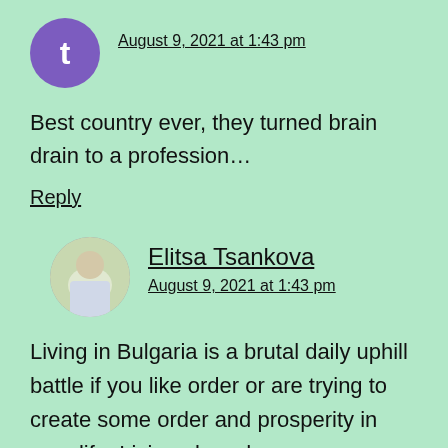August 9, 2021 at 1:43 pm
Best country ever, they turned brain drain to a profession…
Reply
Elitsa Tsankova
August 9, 2021 at 1:43 pm
Living in Bulgaria is a brutal daily uphill battle if you like order or are trying to create some order and prosperity in your life. Living abroad